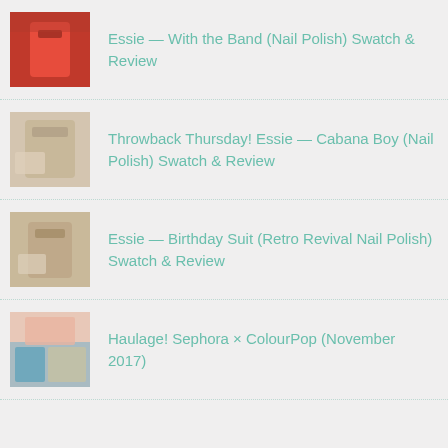Essie — With the Band (Nail Polish) Swatch & Review
Throwback Thursday! Essie — Cabana Boy (Nail Polish) Swatch & Review
Essie — Birthday Suit (Retro Revival Nail Polish) Swatch & Review
Haulage! Sephora × ColourPop (November 2017)
Privacy & Cookies: This site uses cookies. By continuing to use this website, you agree to their use.
To find out more, including how to control cookies, see here: Cookie Policy
Close and accept